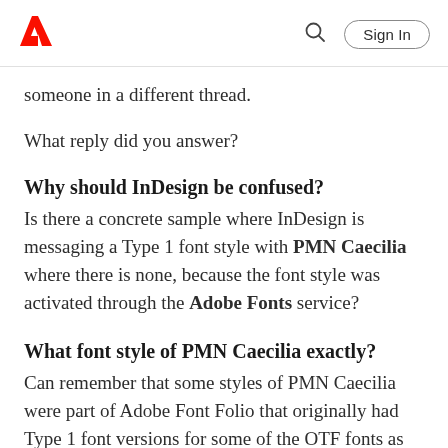Adobe | Sign In
someone in a different thread.
What reply did you answer?
Why should InDesign be confused?
Is there a concrete sample where InDesign is messaging a Type 1 font style with PMN Caecilia where there is none, because the font style was activated through the Adobe Fonts service?
What font style of PMN Caecilia exactly?
Can remember that some styles of PMN Caecilia were part of Adobe Font Folio that originally had Type 1 font versions for some of the OTF fonts as